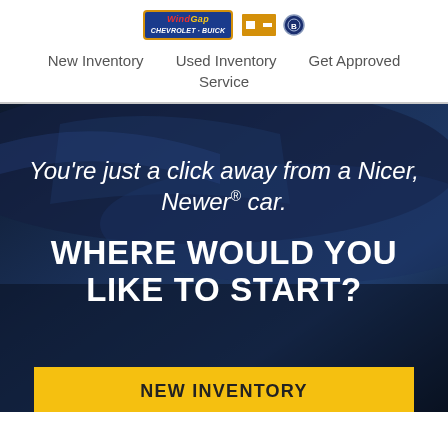[Figure (logo): Wind Gap Chevrolet Buick dealership logo with Chevrolet bowtie and Buick badge]
New Inventory   Used Inventory   Get Approved   Service
[Figure (photo): Dark blue car close-up background image with dark overlay]
You're just a click away from a Nicer, Newer® car.
WHERE WOULD YOU LIKE TO START?
NEW INVENTORY